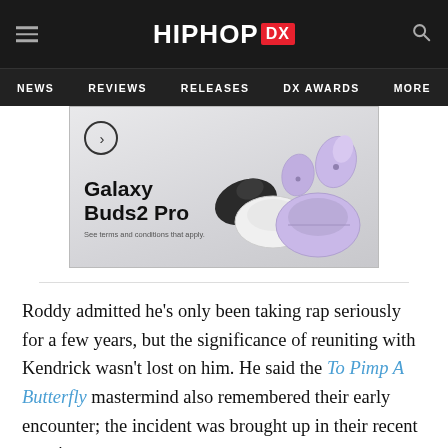HIPHOP DX
NEWS  REVIEWS  RELEASES  DX AWARDS  MORE
[Figure (photo): Samsung Galaxy Buds2 Pro advertisement showing purple and black wireless earbuds with charging case. Text reads: Galaxy Buds2 Pro - See terms and conditions that apply.]
Roddy admitted he’s only been taking rap seriously for a few years, but the significance of reuniting with Kendrick wasn’t lost on him. He said the To Pimp A Butterfly mastermind also remembered their early encounter; the incident was brought up in their recent meeting.